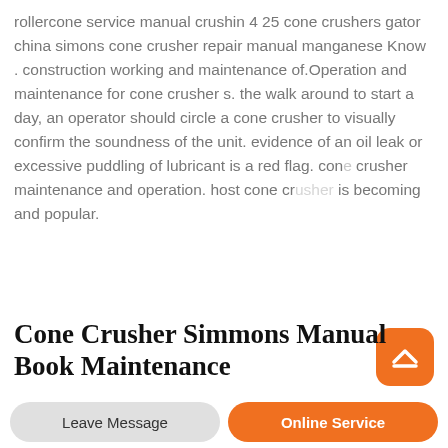rollercone service manual crushin 4 25 cone crushers gator china simons cone crusher repair manual manganese Know . construction working and maintenance of.Operation and maintenance for cone crusher s. the walk around to start a day, an operator should circle a cone crusher to visually confirm the soundness of the unit. evidence of an oil leak or excessive puddling of lubricant is a red flag. cone crusher maintenance and operation. host cone crusher is becoming and popular.
Cone Crusher Simmons Manual Book Maintenance
Simmons cone crusher maintenance this all in all